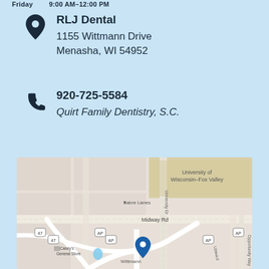Friday  9:00 AM–12:00 PM
RLJ Dental
1155 Wittmann Drive
Menasha, WI 54952
920-725-5584
Quirt Family Dentistry, S.C.
[Figure (map): Street map showing location of RLJ Dental at Wittmann Drive, Menasha WI. Map shows University of Wisconsin-Fox Valley, Sabre Lanes, Midway Rd, Casey's General Store, and surrounding streets. A blue map pin marks the dental office location on Wittmann Drive.]